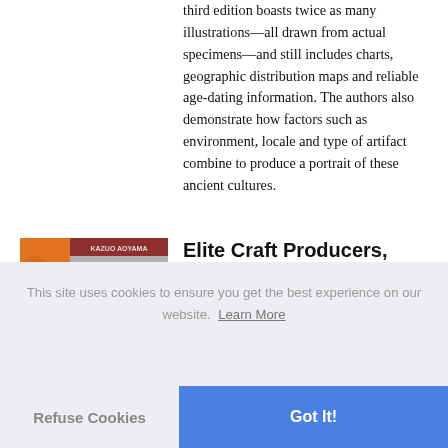third edition boasts twice as many illustrations—all drawn from actual specimens—and still includes charts, geographic distribution maps and reliable age-dating information. The authors also demonstrate how factors such as environment, locale and type of artifact combine to produce a portrait of these ancient cultures.
[Figure (photo): Book cover thumbnail for 'Elite Craft Producers, Artists, and Warriors' by Kazuo Aoyama, with an orange left panel and grayscale artifact image on right with red banner]
Elite Craft Producers, Artists, and Warriors at ...
By Kazuo Aoyama
This site uses cookies to ensure you get the best experience on our website. Learn More